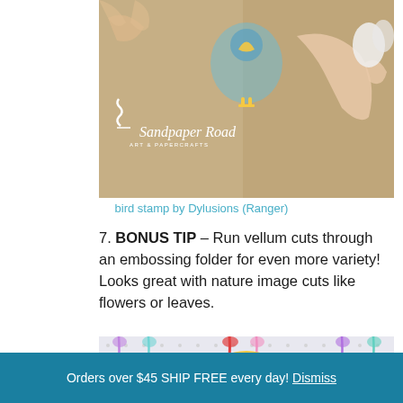[Figure (photo): Close-up photo of hands working on a craft project with a bird stamp. Sandpaper Road Art & Papercrafts logo visible in white in bottom-left of photo.]
bird stamp by Dylusions (Ranger)
7. BONUS TIP – Run vellum cuts through an embossing folder for even more variety! Looks great with nature image cuts like flowers or leaves.
[Figure (photo): Colorful craft party decoration photo with tassels and a yellow cloud shape reading IN CELEBRATION OF OUR NEW WEBSITE in purple text.]
Advertisements
Orders over $45 SHIP FREE every day! Dismiss